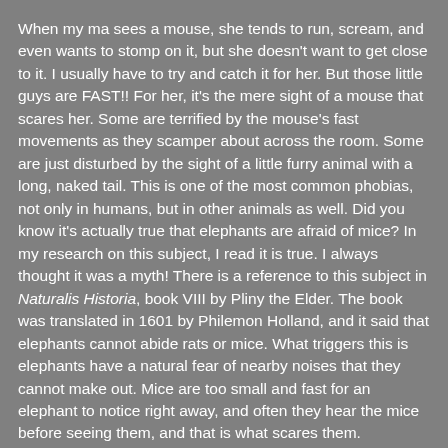When my ma sees a mouse, she tends to run, scream, and even wants to stomp on it, but she doesn't want to get close to it. I usually have to try and catch it for her. But those little guys are FAST!! For her, it's the mere sight of a mouse that scares her. Some are terrified by the mouse's fast movements as they scamper about across the room. Some are just disturbed by the sight of a little furry animal with a long, naked tail. This is one of the most common phobias, not only in humans, but in other animals as well. Did you know it's actually true that elephants are afraid of mice? In my research on this subject, I read it is true. I always thought it was a myth! There is a reference to this subject in Naturalis Historia, book VIII by Pliny the Elder. The book was translated in 1601 by Philemon Holland, and it said that elephants cannot abide rats or mice. What triggers this is elephants have a natural fear of nearby noises that they cannot make out. Mice are too small and fast for an elephant to notice right away, and often they hear the mice before seeing them, and that is what scares them.

Before humans invaded the land, mice lived in meadows and